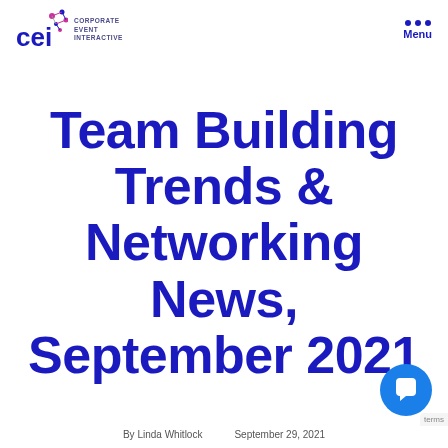CEI Corporate Event Interactive | Menu
Team Building Trends & Networking News, September 2021
By Linda Whitlock   September 29, 2021